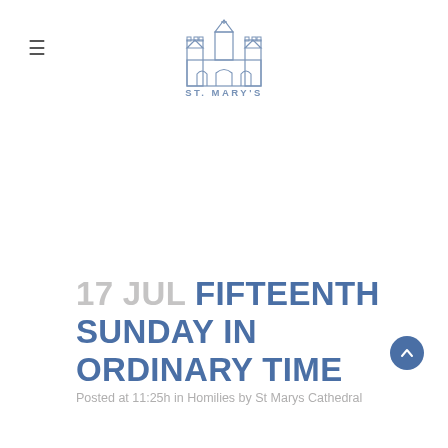[Figure (logo): St. Mary's Cathedral logo — outline drawing of a cathedral with towers and arches, text 'ST. MARY'S' below the building illustration, in blue-grey color]
17 JUL FIFTEENTH SUNDAY IN ORDINARY TIME
Posted at 11:25h in Homilies by St Marys Cathedral